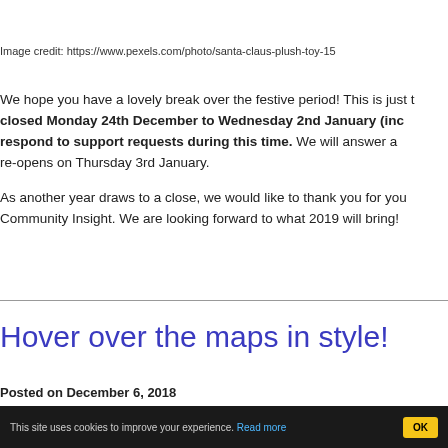Image credit: https://www.pexels.com/photo/santa-claus-plush-toy-15...
We hope you have a lovely break over the festive period! This is just t... closed Monday 24th December to Wednesday 2nd January (inc... respond to support requests during this time. We will answer a... re-opens on Thursday 3rd January.

As another year draws to a close, we would like to thank you for you... Community Insight. We are looking forward to what 2019 will bring!
Hover over the maps in style!
Posted on December 6, 2018
This site uses cookies to improve your experience. Read more